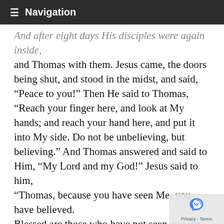Navigation
And after eight days His disciples were again inside, and Thomas with them. Jesus came, the doors being shut, and stood in the midst, and said, “Peace to you!” Then He said to Thomas, “Reach your finger here, and look at My hands; and reach your hand here, and put it into My side. Do not be unbelieving, but believing.” And Thomas answered and said to Him, “My Lord and my God!” Jesus said to him, “Thomas, because you have seen Me, you have believed. Blessed are those who have not seen and yet have believed.” John 20:20; John 20:25-29
I shall see His Hands one day.
Acts 1:11 “Men of Galilee , why do you stand gazing into heaven? This same Jesus, who was taken up from